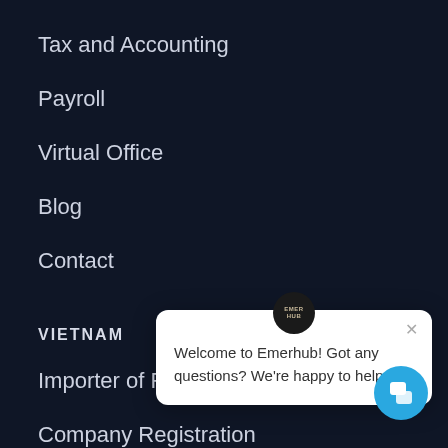Tax and Accounting
Payroll
Virtual Office
Blog
Contact
VIETNAM
Importer of Record
Company Registration
Hiring employees
Blog
Contact
[Figure (screenshot): Emerhub chat popup widget with welcome message: 'Welcome to Emerhub! Got any questions? We're happy to help.' and a circular chat button at bottom right.]